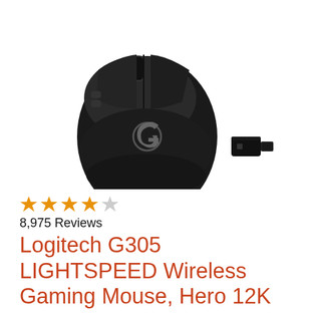[Figure (photo): Top-down view of a Logitech G305 black wireless gaming mouse with the Logitech G logo on the body, alongside a small black USB wireless receiver dongle to the right.]
★★★★½
8,975 Reviews
Logitech G305 LIGHTSPEED Wireless Gaming Mouse, Hero 12K Sensor, 12,000 DPI, Lightweight, 6